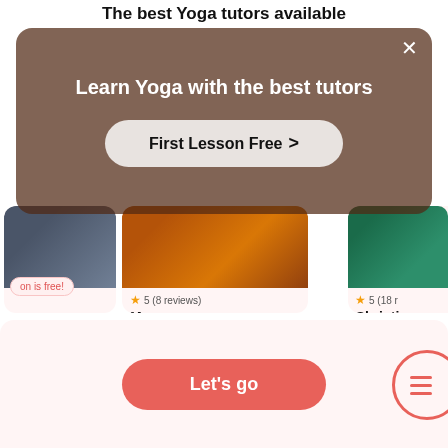The best Yoga tutors available
[Figure (screenshot): Modal overlay with yoga instructor background showing 'Learn Yoga with the best tutors' headline and 'First Lesson Free >' button]
Learn Yoga with the best tutors
First Lesson Free >
5 (8 reviews)
Meera
$25/h 🎁 1st lesson is free!
5 (18 r
Christi
$90/h
on is free!
Let's go